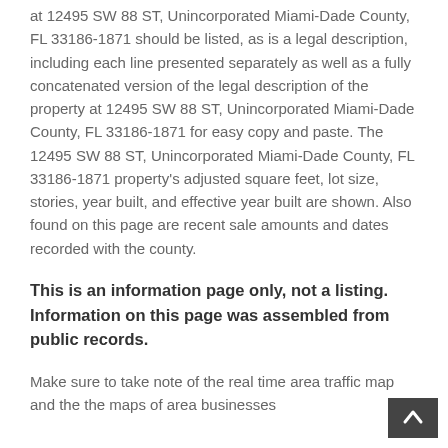at 12495 SW 88 ST, Unincorporated Miami-Dade County, FL 33186-1871 should be listed, as is a legal description, including each line presented separately as well as a fully concatenated version of the legal description of the property at 12495 SW 88 ST, Unincorporated Miami-Dade County, FL 33186-1871 for easy copy and paste. The 12495 SW 88 ST, Unincorporated Miami-Dade County, FL 33186-1871 property's adjusted square feet, lot size, stories, year built, and effective year built are shown. Also found on this page are recent sale amounts and dates recorded with the county.
This is an information page only, not a listing. Information on this page was assembled from public records.
Make sure to take note of the real time area traffic map and the the maps of area businesses